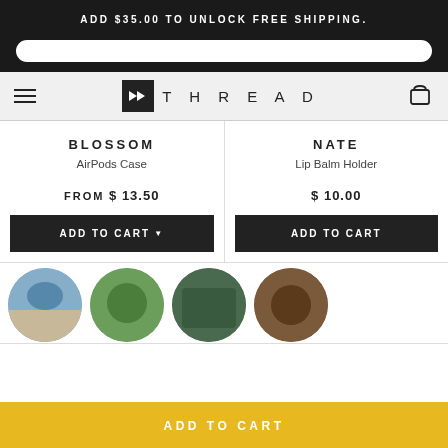ADD $35.00 TO UNLOCK FREE SHIPPING.
[Figure (screenshot): Search bar input field]
[Figure (logo): Thread brand logo with double chevron icon and wordmark THREAD]
BLOSSOM
AirPods Case
FROM $ 13.50
ADD TO CART
NATE
Lip Balm Holder
$ 10.00
ADD TO CART
[Figure (photo): Four circular product preview images showing various items]
ADD TO CART